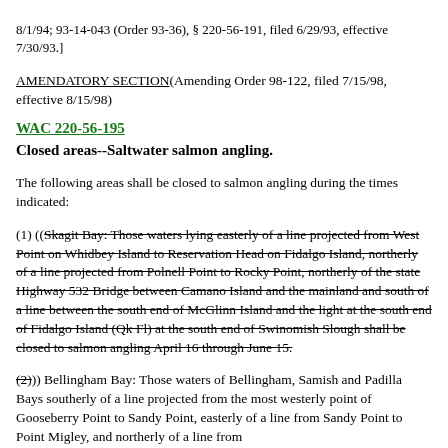8/1/94; 93-14-043 (Order 93-36), § 220-56-191, filed 6/29/93, effective 7/30/93.]
AMENDATORY SECTION(Amending Order 98-122, filed 7/15/98, effective 8/15/98)
WAC 220-56-195
Closed areas--Saltwater salmon angling.
The following areas shall be closed to salmon angling during the times indicated:
(1) ((Skagit Bay: Those waters lying easterly of a line projected from West Point on Whidbey Island to Reservation Head on Fidalgo Island, northerly of a line projected from Polnell Point to Rocky Point, northerly of the state Highway 532 Bridge between Camano Island and the mainland and south of a line between the south end of McGlinn Island and the light at the south end of Fidalgo Island (Qk Fl) at the south end of Swinomish Slough shall be closed to salmon angling April 16 through June 15.
(2))) Bellingham Bay: Those waters of Bellingham, Samish and Padilla Bays southerly of a line projected from the most westerly point of Gooseberry Point to Sandy Point, easterly of a line from Sandy Point to Point Migley, and northerly of a line from